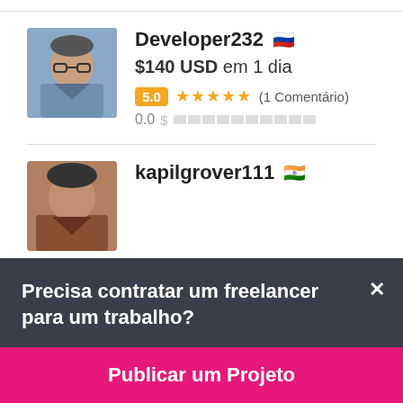[Figure (screenshot): Freelancer profile card for Developer232 with Russian flag, price $140 USD em 1 dia, rating 5.0 with 5 stars and 1 Comentário, earnings 0.0]
Developer232 🇷🇺
$140 USD em 1 dia
5.0 ★★★★★ (1 Comentário)
0.0
[Figure (screenshot): Freelancer profile card for kapilgrover111 with Indian flag]
kapilgrover111 🇮🇳
Precisa contratar um freelancer para um trabalho?
Publicar um Projeto